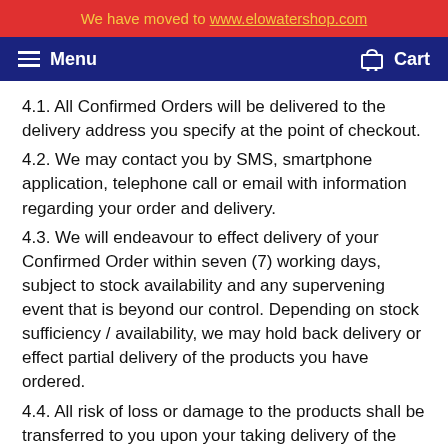We have moved to www.elowatershop.com
Menu   Cart
4.1. All Confirmed Orders will be delivered to the delivery address you specify at the point of checkout.
4.2. We may contact you by SMS, smartphone application, telephone call or email with information regarding your order and delivery.
4.3. We will endeavour to effect delivery of your Confirmed Order within seven (7) working days, subject to stock availability and any supervening event that is beyond our control. Depending on stock sufficiency / availability, we may hold back delivery or effect partial delivery of the products you have ordered.
4.4. All risk of loss or damage to the products shall be transferred to you upon your taking delivery of the products (or such person who accepts / purports to accept delivery of the products on your behalf).